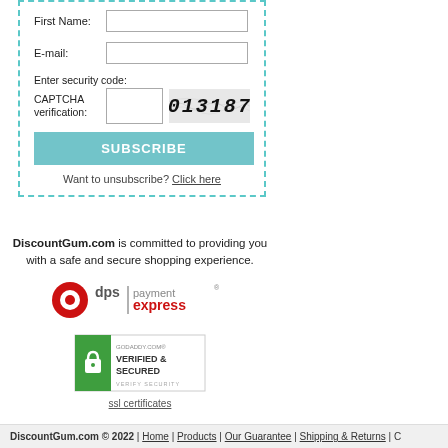First Name:
E-mail:
Enter security code:
CAPTCHA verification:
SUBSCRIBE
Want to unsubscribe? Click here
DiscountGum.com is committed to providing you with a safe and secure shopping experience.
[Figure (logo): DPS Payment Express logo with red circle and grey/red text]
[Figure (logo): GoDaddy.com Verified & Secured badge with green lock icon and ssl certificates link]
DiscountGum.com © 2022 | Home | Products | Our Guarantee | Shipping & Returns | C